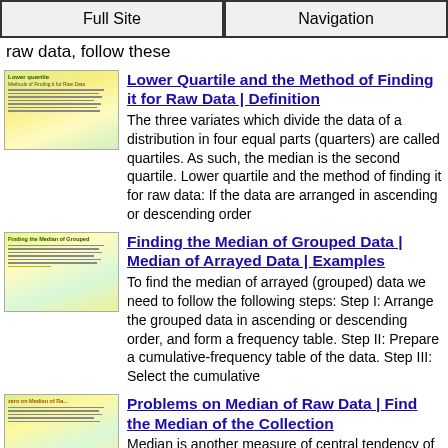Full Site | Navigation
raw data, follow these
[Figure (screenshot): Thumbnail image for Lower Quartile article]
Lower Quartile and the Method of Finding it for Raw Data | Definition
The three variates which divide the data of a distribution in four equal parts (quarters) are called quartiles. As such, the median is the second quartile. Lower quartile and the method of finding it for raw data: If the data are arranged in ascending or descending order
[Figure (screenshot): Thumbnail image for Finding the Median of Grouped Data article]
Finding the Median of Grouped Data | Median of Arrayed Data | Examples
To find the median of arrayed (grouped) data we need to follow the following steps: Step I: Arrange the grouped data in ascending or descending order, and form a frequency table. Step II: Prepare a cumulative-frequency table of the data. Step III: Select the cumulative
[Figure (screenshot): Thumbnail image for Problems on Median of Raw Data article]
Problems on Median of Raw Data | Find the Median of the Collection
Median is another measure of central tendency of a distribution. We will solve different types of problems on Median of Raw Data. Solved Examples on Median of Raw Data: 1. The